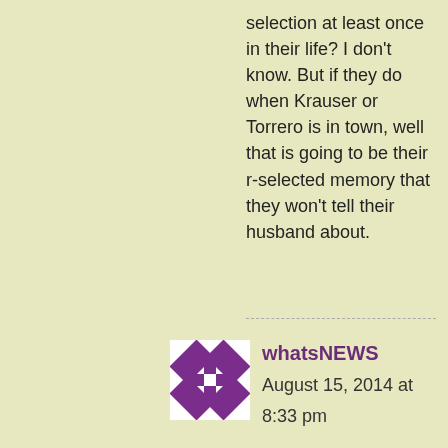selection at least once in their life? I don't know. But if they do when Krauser or Torrero is in town, well that is going to be their r-selected memory that they won't tell their husband about.
[Figure (logo): Purple and white quilt-pattern avatar icon for user whatsNEWS]
whatsNEWS
August 15, 2014 at
8:33 pm